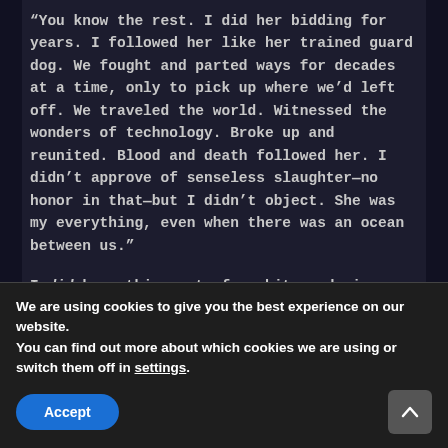“You know the rest. I did her bidding for years. I followed her like her trained guard dog. We fought and parted ways for decades at a time, only to pick up where we’d left off. We traveled the world. Witnessed the wonders of technology. Broke up and reunited. Blood and death followed her. I didn’t approve of senseless slaughter—no honor in that—but I didn’t object. She was my everything, even when there was an ocean between us.”
I did know this part, from bits and pieces he’d shared about his past the year and a half we’d been together, but I’d never heard this condensed version that showed how important she’d been to
We are using cookies to give you the best experience on our website.
You can find out more about which cookies we are using or switch them off in settings.